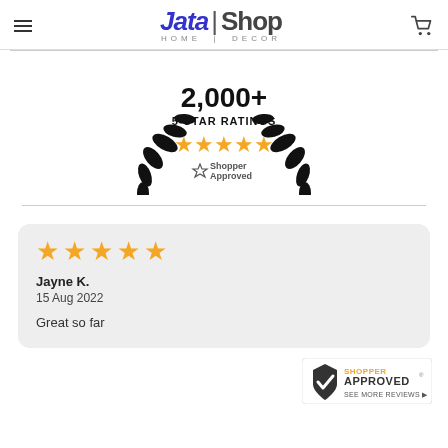[Figure (logo): Jata Shop Home Decor logo with hamburger menu and cart icon in header]
[Figure (infographic): 2,000+ 5-Star Ratings badge with laurel wreath, gold stars, and Shopper Approved logo]
★★★★★
Jayne K.
15 Aug 2022

Great so far
[Figure (logo): Shopper Approved badge with checkmark and 'SEE MORE REVIEWS' text]